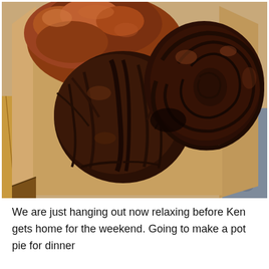[Figure (photo): Close-up photo of dark glossy croissants and pastries inside a brown paper-lined bakery box, placed on a wooden surface with a granite countertop visible on the right edge.]
We are just hanging out now relaxing before Ken gets home for the weekend. Going to make a pot pie for dinner